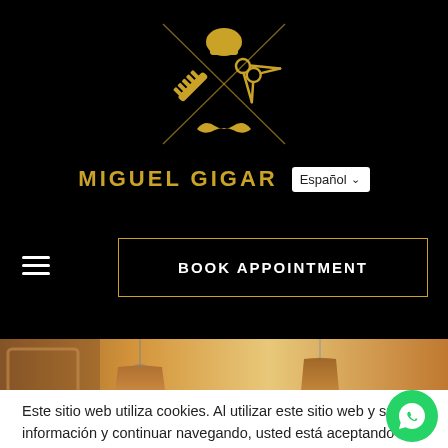[Figure (logo): Miguel Gigar barber shop logo: gold crossed scissors, comb/razor, mustache and hair silhouette on black background]
MIGUEL GIGAR
[Figure (screenshot): Language selector dropdown showing 'Español']
[Figure (other): Hamburger menu icon (three horizontal white lines)]
BOOK APPOINTMENT
[Figure (photo): Barber shop interior with warm lighting and pendant lamps]
Este sitio web utiliza cookies. Al utilizar este sitio web y su información y continuar navegando, usted está aceptando cookies. Puede cambiarlas en la configuración de su navegador.